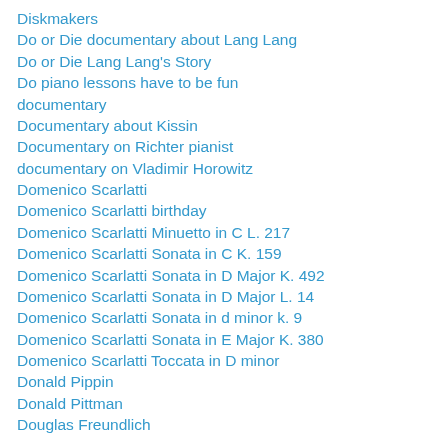Diskmakers
Do or Die documentary about Lang Lang
Do or Die Lang Lang's Story
Do piano lessons have to be fun
documentary
Documentary about Kissin
Documentary on Richter pianist
documentary on Vladimir Horowitz
Domenico Scarlatti
Domenico Scarlatti birthday
Domenico Scarlatti Minuetto in C L. 217
Domenico Scarlatti Sonata in C K. 159
Domenico Scarlatti Sonata in D Major K. 492
Domenico Scarlatti Sonata in D Major L. 14
Domenico Scarlatti Sonata in d minor k. 9
Domenico Scarlatti Sonata in E Major K. 380
Domenico Scarlatti Toccata in D minor
Donald Pippin
Donald Pittman
Douglas Freundlich